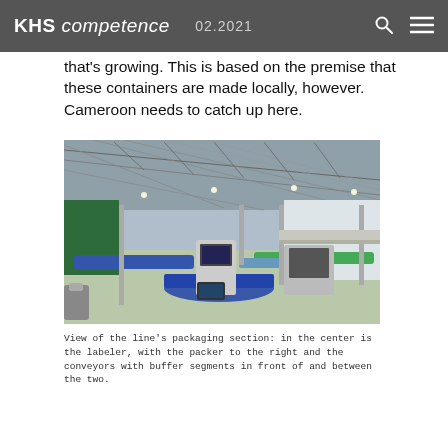KHS competence  02.2021
that's growing. This is based on the premise that these containers are made locally, however. Cameroon needs to catch up here.
[Figure (photo): Interior view of a large industrial beverage packaging hall with conveyor belts, buffer segments, a labeler in the center, and a packer to the right. Steel roof trusses visible overhead, green-painted floors.]
View of the line's packaging section: in the center is the labeler, with the packer to the right and the conveyors with buffer segments in front of and between the two.